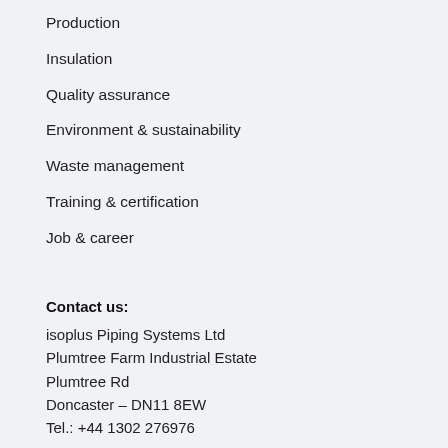Production
Insulation
Quality assurance
Environment & sustainability
Waste management
Training & certification
Job & career
Contact us:
isoplus Piping Systems Ltd
Plumtree Farm Industrial Estate
Plumtree Rd
Doncaster – DN11 8EW
Tel.: +44 1302 276976